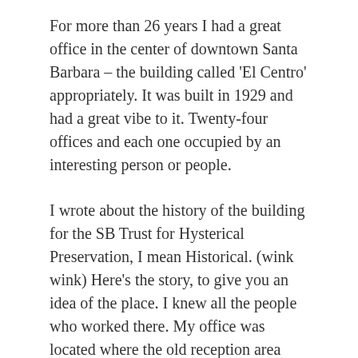For more than 26 years I had a great office in the center of downtown Santa Barbara – the building called 'El Centro' appropriately. It was built in 1929 and had a great vibe to it. Twenty-four offices and each one occupied by an interesting person or people.
I wrote about the history of the building for the SB Trust for Hysterical Preservation, I mean Historical. (wink wink) Here's the story, to give you an idea of the place. I knew all the people who worked there. My office was located where the old reception area was for the original law offices it was made for. People naturally gravitated to my doors to ask, do you know where suite number so and so is? I'd ask them for the person's name – then I could tell them